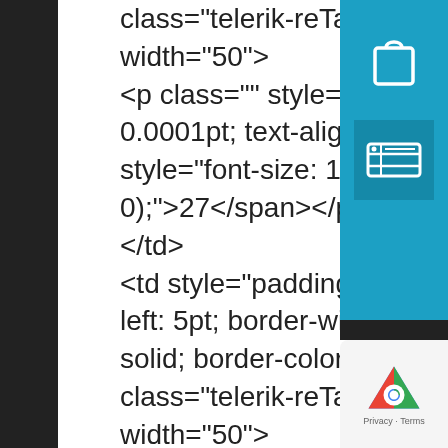class="telerik-reTableOddCol-1" width="50"> <p class="" style="margin-bottom: 0.0001pt; text-align: center;"><span style="font-size: 13px; color: rgb(0, 0, 0);">27</span></p> </td> <td style="padding-right: 5pt; padding-left: 5pt; border-width: 1px; border-style: solid; border-color: rgb(0, 0, 0);" class="telerik-reTableLastCol-1" width="50"> <p class="" style="margin-bottom: 0.0001pt; text-align: center;"><span style="font-size: 13px; color: rgb(0, 0, 0);">79</span></p> </td> </tr> <tr class="telerik-reTableEvenRow-1">
[Figure (screenshot): Sidebar with shopping bag icon and ticket icon on blue background]
[Figure (screenshot): Google reCAPTCHA badge with Privacy and Terms text]